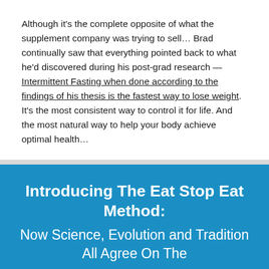Although it's the complete opposite of what the supplement company was trying to sell… Brad continually saw that everything pointed back to what he'd discovered during his post-grad research — Intermittent Fasting when done according to the findings of his thesis is the fastest way to lose weight. It's the most consistent way to control it for life. And the most natural way to help your body achieve optimal health…
Introducing The Eat Stop Eat Method:
Now Science, Evolution and Tradition All Agree On The